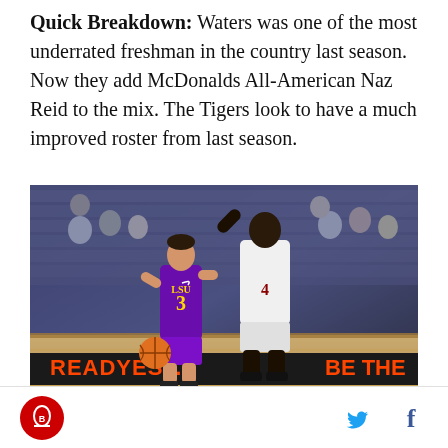Quick Breakdown: Waters was one of the most underrated freshman in the country last season. Now they add McDonalds All-American Naz Reid to the mix. The Tigers look to have a much improved roster from last season.
[Figure (photo): Basketball game photo showing an LSU player wearing purple number 3 jersey dribbling the ball while being guarded by a defender in white. Arena crowd visible in background. Court-side advertising reads READYEST and BE THE.]
Logo icon and social media icons (Twitter bird, Facebook f)